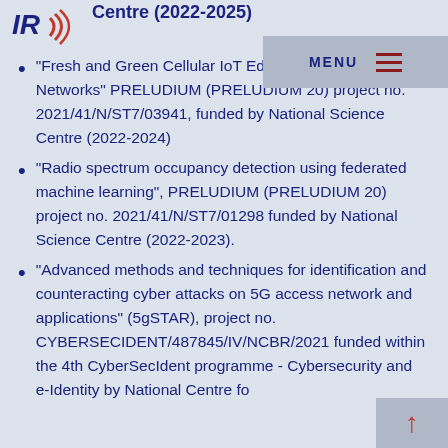[Figure (logo): IR logo with red signal waves]
Centre (2022-2025)
MENU
"Fresh and Green Cellular IoT Edge Computing Networks" PRELUDIUM (PRELUDIUM 20) project no. 2021/41/N/ST7/03941, funded by National Science Centre (2022-2024)
"Radio spectrum occupancy detection using federated machine learning", PRELUDIUM (PRELUDIUM 20) project no. 2021/41/N/ST7/01298 funded by National Science Centre (2022-2023).
"Advanced methods and techniques for identification and counteracting cyber attacks on 5G access network and applications" (5gSTAR), project no. CYBERSECIDENT/487845/IV/NCBR/2021 funded within the 4th CyberSecIdent programme - Cybersecurity and e-Identity by National Centre fo